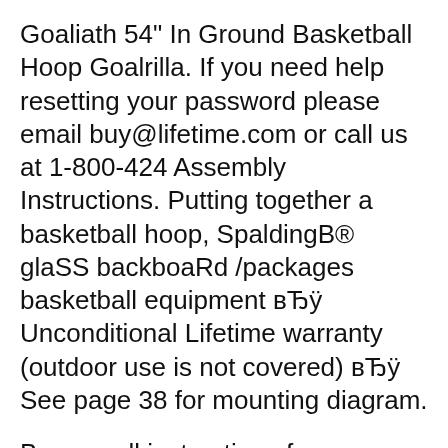Goaliath 54" In Ground Basketball Hoop Goalrilla. If you need help resetting your password please email buy@lifetime.com or call us at 1-800-424 Assembly Instructions. Putting together a basketball hoop, SpaldingB® glaSS backboaRd /packages basketball equipment вЂÿ Unconditional Lifetime warranty (outdoor use is not covered) вЂÿ See page 38 for mounting diagram.
Browse all instructions for download and assembly of all Ironclad basketball goals. IroncladB® Basketball Hoop Installation and Assembly Center. Backboard Size Portable Basketball System OwnerвЂ™s Manual to extend your your backboard during тŠ...